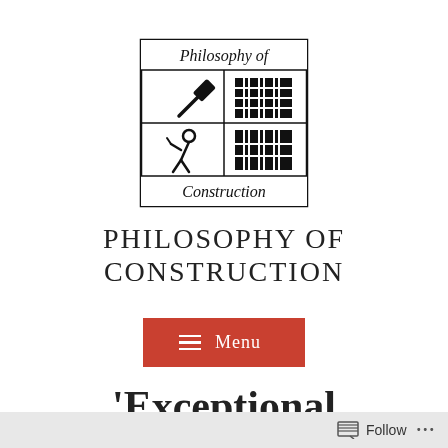[Figure (logo): Philosophy of Construction logo: a bordered square divided into quadrants with 'Philosophy of' at top, a hammer icon and building/bookshelf icon in middle cells, a worker figure icon and another building icon below, and 'Construction' text at the bottom.]
PHILOSOPHY OF CONSTRUCTION
[Figure (other): Red rectangular menu button with three horizontal lines (hamburger icon) and 'Menu' text in white]
'Exceptional
Follow ...